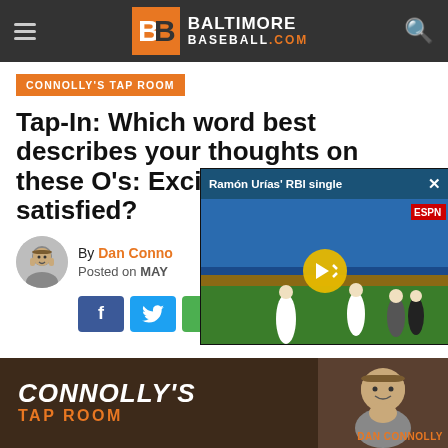Baltimore Baseball.com
CONNOLLY'S TAP ROOM
Tap-In: Which word best describes your thoughts on these O's: Excited, concerned, satisfied?
By Dan Connolly
Posted on MAY
[Figure (screenshot): Video popup showing Ramón Urías' RBI single with baseball game footage and mute button overlay]
[Figure (photo): Bottom banner for Connolly's Tap Room featuring Dan Connolly]